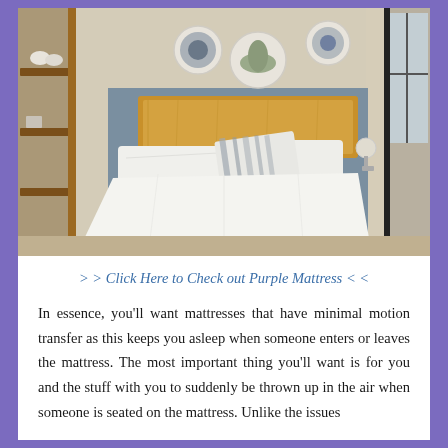[Figure (photo): A bedroom with a double bed with white sheets and a striped pillow, wooden headboard with blue painted wall panel behind it, decorative plates/hats on the wall, wooden shelving unit on the left, window on the right, wall-mounted lamp.]
> > Click Here to Check out Purple Mattress < <
In essence, you'll want mattresses that have minimal motion transfer as this keeps you asleep when someone enters or leaves the mattress. The most important thing you'll want is for you and the stuff with you to suddenly be thrown up in the air when someone is seated on the mattress. Unlike the issues